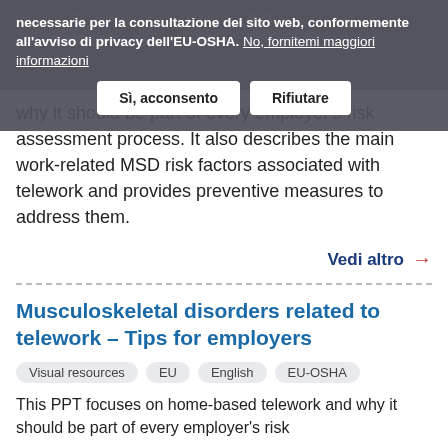[Figure (screenshot): Cookie consent overlay banner with Italian text: 'necessarie per la consultazione del sito web, conformemente all'avviso di privacy dell'EU-OSHA.' with link 'No, fornitemi maggiori informazioni' and two buttons 'Sì, acconsento' and 'Rifiutare']
This PPT focuses on home-based telework and why it should be part of every employer's risk assessment process. It also describes the main work-related MSD risk factors associated with telework and provides preventive measures to address them.
Vedi altro →
Musculoskeletal disorders related to telework – Tips for employers
Visual resources
EU
English
EU-OSHA
This PPT focuses on home-based telework and why it should be part of every employer's risk